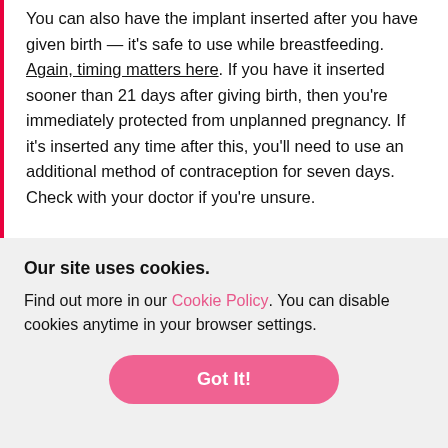You can also have the implant inserted after you have given birth — it's safe to use while breastfeeding. Again, timing matters here. If you have it inserted sooner than 21 days after giving birth, then you're immediately protected from unplanned pregnancy. If it's inserted any time after this, you'll need to use an additional method of contraception for seven days. Check with your doctor if you're unsure.
How to remove the birth control implant
Our site uses cookies.
Find out more in our Cookie Policy. You can disable cookies anytime in your browser settings.
Got It!